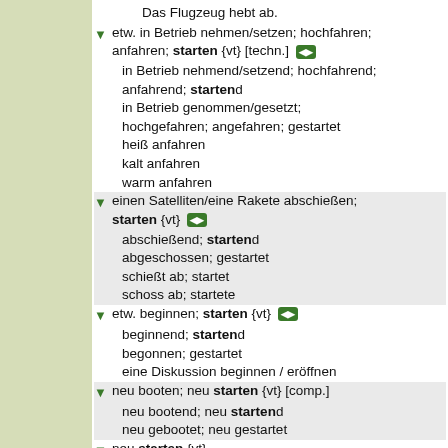Das Flugzeug hebt ab.
etw. in Betrieb nehmen/setzen; hochfahren; anfahren; starten {vt} [techn.]
in Betrieb nehmend/setzend; hochfahrend; anfahrend; startend
in Betrieb genommen/gesetzt; hochgefahren; angefahren; gestartet
heiß anfahren
kalt anfahren
warm anfahren
einen Satelliten/eine Rakete abschießen; starten {vt}
abschießend; startend
abgeschossen; gestartet
schießt ab; startet
schoss ab; startete
etw. beginnen; starten {vt}
beginnend; startend
begonnen; gestartet
eine Diskussion beginnen / eröffnen
neu booten; neu starten {vt} [comp.]
neu bootend; neu startend
neu gebootet; neu gestartet
neu starten {vt}
neu startend
neu gestartet
etw. neu starten {vt}